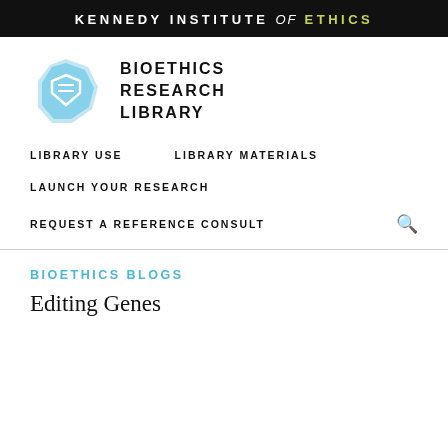KENNEDY INSTITUTE of ETHICS
[Figure (logo): Bioethics Research Library logo: blue polygon shape with white shield icon, next to bold text 'BIOETHICS RESEARCH LIBRARY']
LIBRARY USE
LIBRARY MATERIALS
LAUNCH YOUR RESEARCH
REQUEST A REFERENCE CONSULT
BIOETHICS BLOGS
Editing Genes